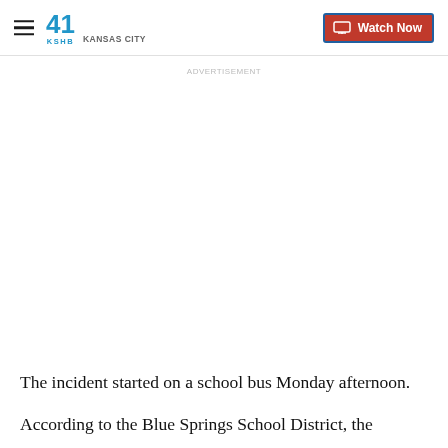41 KSHB KANSAS CITY | Watch Now
The incident started on a school bus Monday afternoon.
According to the Blue Springs School District, the